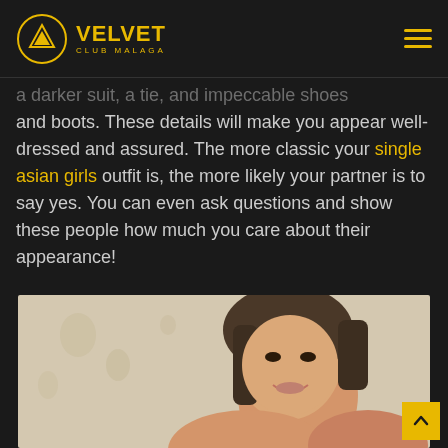VELVET CLUBMALAGA — navigation header with logo and hamburger menu
a darker suit, a tie, and impeccable shoes and boots. These details will make you appear well-dressed and assured. The more classic your single asian girls outfit is, the more likely your partner is to say yes. You can even ask questions and show these people how much you care about their appearance!
[Figure (photo): Portrait photo of a young Asian woman with a short bob haircut, smiling, against a floral wallpaper background]